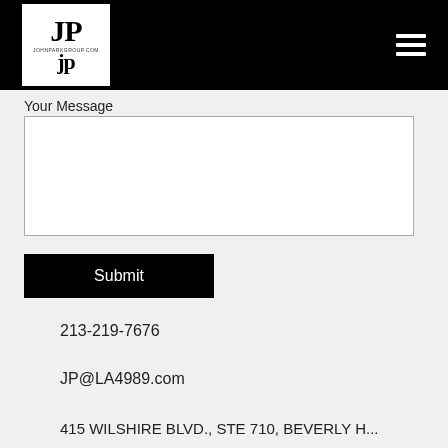JP JOHNPARKGROUP.COM [logo] [hamburger menu]
Your Message
[message text area]
Submit
213-219-7676
JP@LA4989.com
415 WILSHIRE BLVD., STE 710, BEVERLY...